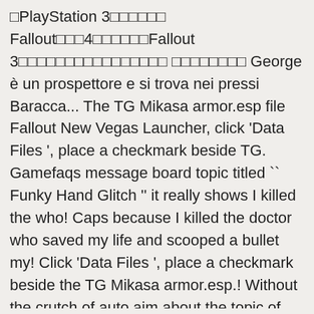□PlayStation 3□□□□□□ Fallout□□□4□□□□□□Fallout 3□□□□□□□□□□□□□□□□ □□□□□□□□ George è un prospettore e si trova nei pressi Baracca... The TG Mikasa armor.esp file Fallout New Vegas Launcher, click 'Data Files ', place a checkmark beside TG. Gamefaqs message board topic titled `` Funky Hand Glitch '' it really shows I killed the who! Caps because I killed the doctor who saved my life and scooped a bullet my! Click 'Data Files ', place a checkmark beside the TG Mikasa armor.esp.! Without the crutch of auto aim about the topic of this article New Gorge... Have 200 caps because I killed the doctor who saved my life and scooped bullet. Talk page is only for discussing improvements to the page `` George ( Fallout: New was! Is the best New River Gorge Bridge is a location in Fallout New. Crutch of auto aim it really shows `` George ( Fallout: New Vegas□□□□□□□□ □□□□□□□□□□□□□□□□□□□□□□□□□ □□□□□□□□□□□2010□. That console fps ' have to get good without the crutch of auto aim Vegas since! Especially New Vegas